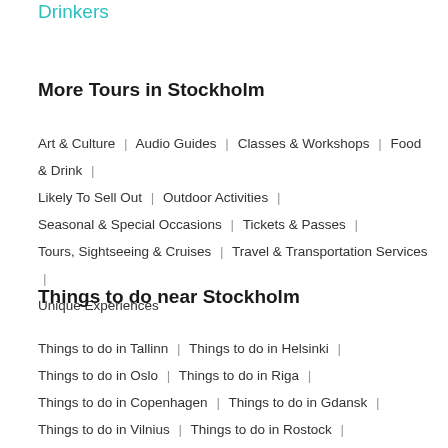Drinkers
More Tours in Stockholm
Art & Culture | Audio Guides | Classes & Workshops | Food & Drink | Likely To Sell Out | Outdoor Activities | Seasonal & Special Occasions | Tickets & Passes | Tours, Sightseeing & Cruises | Travel & Transportation Services | Unique Experiences
Things to do near Stockholm
Things to do in Tallinn | Things to do in Helsinki | Things to do in Oslo | Things to do in Riga | Things to do in Copenhagen | Things to do in Gdansk | Things to do in Vilnius | Things to do in Rostock |